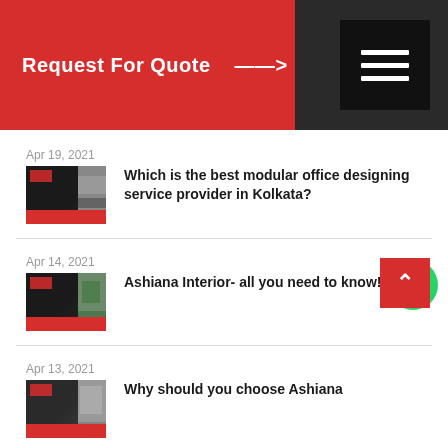Request For Quote →
Apr 19, 2021
Which is the best modular office designing service provider in Kolkata?
Apr 14, 2021
Ashiana Interior- all you need to know!
Apr 13, 2021
Why should you choose Ashiana